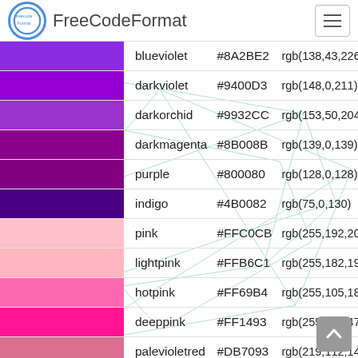FreeCodeFormat
| Swatch | Name | Hex | RGB |
| --- | --- | --- | --- |
| blueviolet | #8A2BE2 | rgb(138,43,226) |
| darkviolet | #9400D3 | rgb(148,0,211) |
| darkorchid | #9932CC | rgb(153,50,204) |
| darkmagenta | #8B008B | rgb(139,0,139) |
| purple | #800080 | rgb(128,0,128) |
| indigo | #4B0082 | rgb(75,0,130) |
| pink | #FFC0CB | rgb(255,192,203) |
| lightpink | #FFB6C1 | rgb(255,182,193) |
| hotpink | #FF69B4 | rgb(255,105,180) |
| deeppink | #FF1493 | rgb(255,20,147) |
| palevioletred | #DB7093 | rgb(219,112,147) |